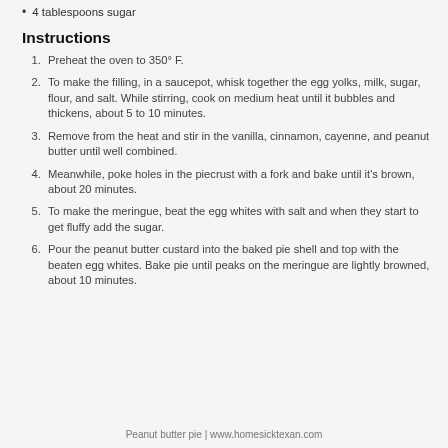4 tablespoons sugar
Instructions
Preheat the oven to 350° F.
To make the filling, in a saucepot, whisk together the egg yolks, milk, sugar, flour, and salt. While stirring, cook on medium heat until it bubbles and thickens, about 5 to 10 minutes.
Remove from the heat and stir in the vanilla, cinnamon, cayenne, and peanut butter until well combined.
Meanwhile, poke holes in the piecrust with a fork and bake until it's brown, about 20 minutes.
To make the meringue, beat the egg whites with salt and when they start to get fluffy add the sugar.
Pour the peanut butter custard into the baked pie shell and top with the beaten egg whites. Bake pie until peaks on the meringue are lightly browned, about 10 minutes.
Peanut butter pie | www.homesicktexan.com